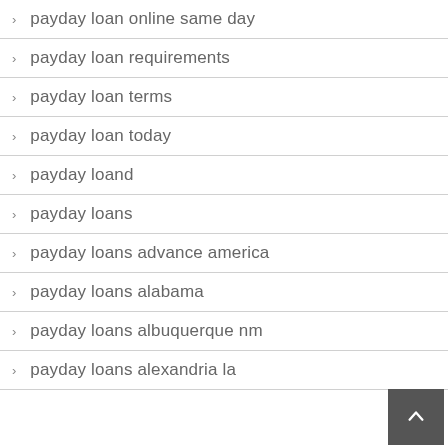payday loan online same day
payday loan requirements
payday loan terms
payday loan today
payday loand
payday loans
payday loans advance america
payday loans alabama
payday loans albuquerque nm
payday loans alexandria la